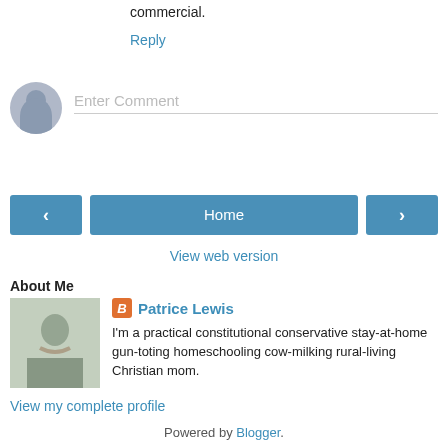commercial.
Reply
Enter Comment
< Home >
View web version
About Me
Patrice Lewis
I'm a practical constitutional conservative stay-at-home gun-toting homeschooling cow-milking rural-living Christian mom.
View my complete profile
Powered by Blogger.